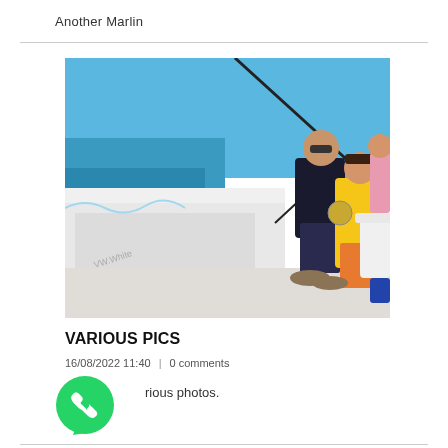Another Marlin
[Figure (photo): Photo of people on a fishing boat, a child in a yellow jacket holding a fishing reel, with an adult in a dark shirt. The boat side shows 'www.Whitemarlin.com'. Blue ocean and sky in the background.]
VARIOUS PICS
16/08/2022 11:40  |  0 comments
[Figure (logo): WhatsApp green phone logo icon]
Various photos.